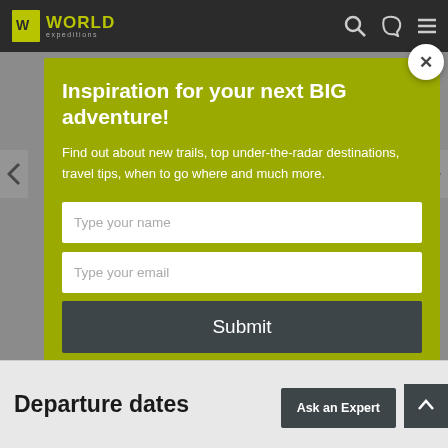World Expeditions
Inspiration for your next BIG adventure!
Find out about new trails, top under-the-radar destinations, travel tips, when to go where and much more.
Type your name
Type your email
Submit
Departure dates
Ask an Expert